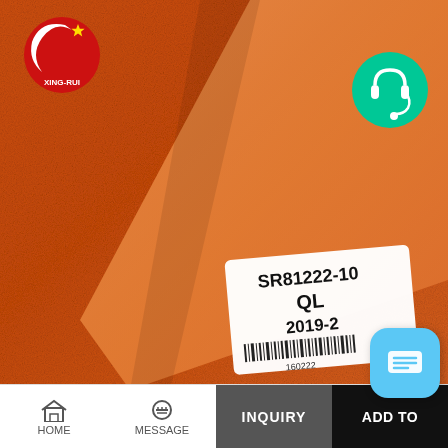[Figure (photo): Orange leather fabric folded to show texture and backing, with a white product label showing SR81222-10, QL, 2019-2, barcode 160222. Brand logo XING-RUI in top-left, green headset icon button top-right.]
HOME  MESSAGE  INQUIRY  ADD TO